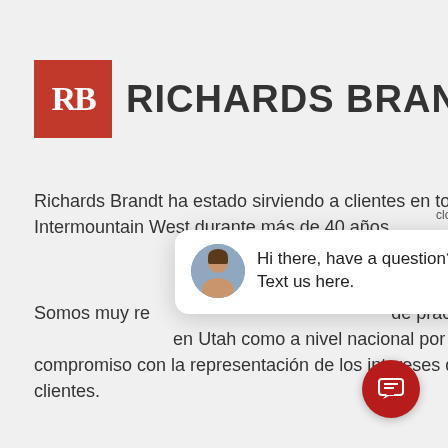[Figure (logo): Richards Brandt law firm logo: red square with white RB letters and firm name in bold dark text]
Richards Brandt ha estado sirviendo a clientes en todo el estado de Utah e Intermountain West durante más de 40 años.
Somos muy re... de práctica y n... en Utah como a nivel nacional por nuestro compromiso con la representación de los intereses de nuestros clientes.
[Figure (screenshot): Chat popup with avatar photo and text: Hi there, have a question? Text us here. With close button. Red circular chat icon button at bottom right.]